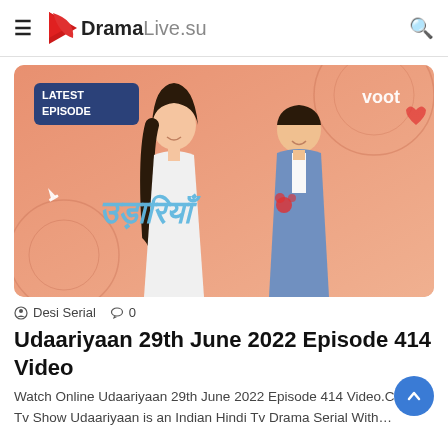DramaLive.su
[Figure (photo): Promotional image for Indian TV drama serial Udaariyaan showing two lead actors (a young woman and a young man) against a peach/orange background with the show's Hindi title logo, 'LATEST EPISODE' badge in top-left, and 'voot' branding in top-right.]
Desi Serial   0
Udaariyaan 29th June 2022 Episode 414 Video
Watch Online Udaariyaan 29th June 2022 Episode 414 Video.Colors Tv Show Udaariyaan is an Indian Hindi Tv Drama Serial With…